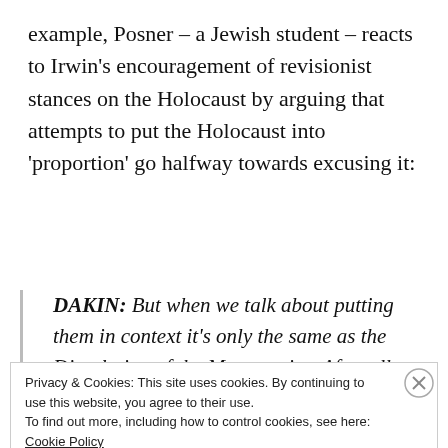example, Posner – a Jewish student – reacts to Irwin's encouragement of revisionist stances on the Holocaust by arguing that attempts to put the Holocaust into 'proportion' go halfway towards excusing it:
DAKIN: But when we talk about putting them in context it's only the same as the Dissolution of the Monasteries. After all, monasteries had been
Privacy & Cookies: This site uses cookies. By continuing to use this website, you agree to their use.
To find out more, including how to control cookies, see here: Cookie Policy
Close and accept